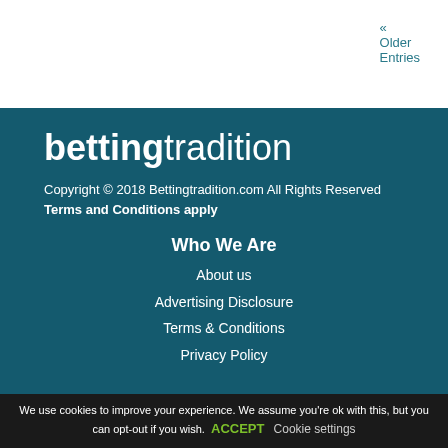« Older Entries
[Figure (logo): BettingTradition logo — bold white 'betting' followed by regular weight 'tradition' on dark teal background]
Copyright © 2018 Bettingtradition.com All Rights Reserved
Terms and Conditions apply
Who We Are
About us
Advertising Disclosure
Terms & Conditions
Privacy Policy
We use cookies to improve your experience. We assume you're ok with this, but you can opt-out if you wish. ACCEPT Cookie settings